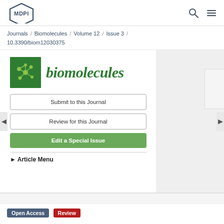MDPI | Journals / Biomolecules / Volume 12 / Issue 3 / 10.3390/biom12030375
[Figure (logo): Biomolecules journal logo with green molecular icon and italic green text 'biomolecules']
Submit to this Journal
Review for this Journal
Edit a Special Issue
▶ Article Menu
Open Access   Review